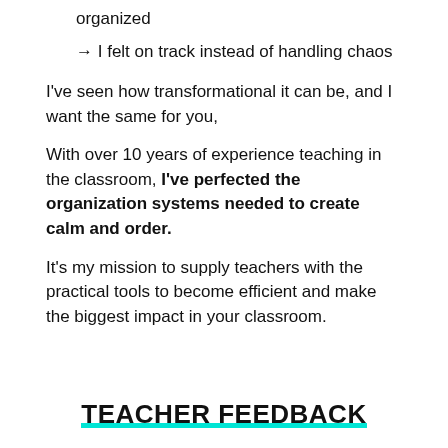organized
→ I felt on track instead of handling chaos
I've seen how transformational it can be, and I want the same for you,
With over 10 years of experience teaching in the classroom, I've perfected the organization systems needed to create calm and order.
It's my mission to supply teachers with the practical tools to become efficient and make the biggest impact in your classroom.
TEACHER FEEDBACK